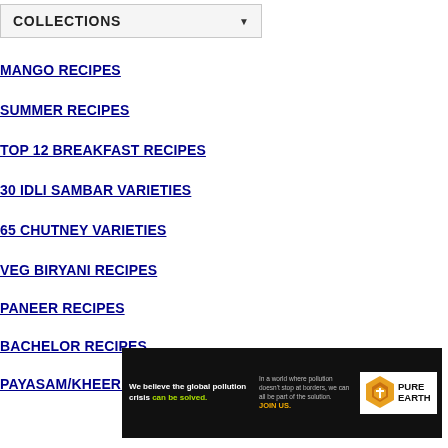COLLECTIONS
MANGO RECIPES
SUMMER RECIPES
TOP 12 BREAKFAST RECIPES
30 IDLI SAMBAR VARIETIES
65 CHUTNEY VARIETIES
VEG BIRYANI RECIPES
PANEER RECIPES
BACHELOR RECIPES
PAYASAM/KHEER RECIPES
[Figure (other): Pure Earth advertisement banner: 'We believe the global pollution crisis can be solved. In a world where pollution doesn't stop at borders, we can all be part of the solution. JOIN US.' with Pure Earth logo.]